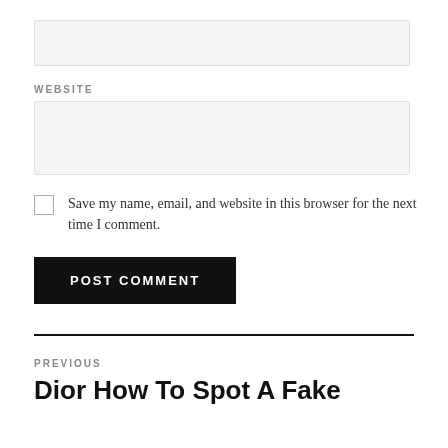[Figure (other): Empty text input box (form field)]
WEBSITE
[Figure (other): Empty website text input box (form field)]
Save my name, email, and website in this browser for the next time I comment.
POST COMMENT
PREVIOUS
Dior How To Spot A Fake